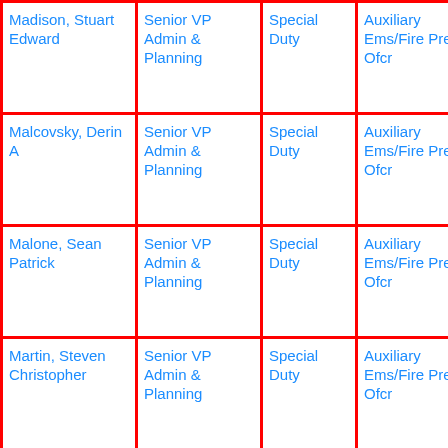| Name | Title | Assignment | Position | Salary |
| --- | --- | --- | --- | --- |
| Madison, Stuart Edward | Senior VP Admin & Planning | Special Duty | Auxiliary Ems/Fire Prev Ofcr | 83,92 |
| Malcovsky, Derin A | Senior VP Admin & Planning | Special Duty | Auxiliary Ems/Fire Prev Ofcr | 83,92 |
| Malone, Sean Patrick | Senior VP Admin & Planning | Special Duty | Auxiliary Ems/Fire Prev Ofcr | 83,92 |
| Martin, Steven Christopher | Senior VP Admin & Planning | Special Duty | Auxiliary Ems/Fire Prev Ofcr | 86,17 |
| (partial) | Senior |  | Auxiliary |  |